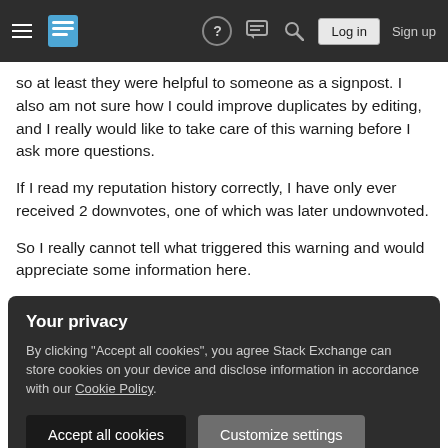Stack Exchange navigation bar with hamburger menu, logo, help, chat, search, Log in, Sign up
so at least they were helpful to someone as a signpost. I also am not sure how I could improve duplicates by editing, and I really would like to take care of this warning before I ask more questions.
If I read my reputation history correctly, I have only ever received 2 downvotes, one of which was later undownvoted.
So I really cannot tell what triggered this warning and would appreciate some information here.
Your privacy
By clicking "Accept all cookies", you agree Stack Exchange can store cookies on your device and disclose information in accordance with our Cookie Policy.
Accept all cookies
Customize settings
or is there really something fundamentally wrong